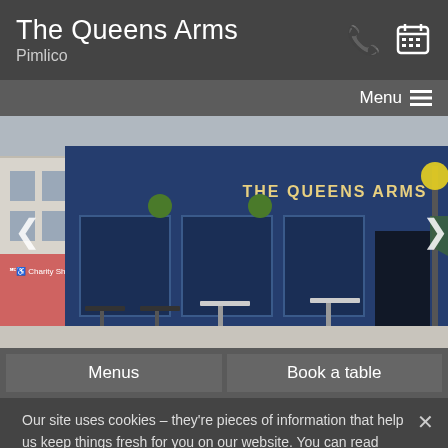The Queens Arms
Pimlico
Menu ≡
[Figure (photo): Exterior photograph of The Queens Arms pub in Pimlico, showing a blue-painted Victorian pub facade with hanging flower baskets, outdoor seating on the pavement, and a green awning on the right side. A Charity Shop is visible to the left.]
Menus
Book a table
Our site uses cookies – they're pieces of information that help us keep things fresh for you on our website. You can read about them in our privacy policy